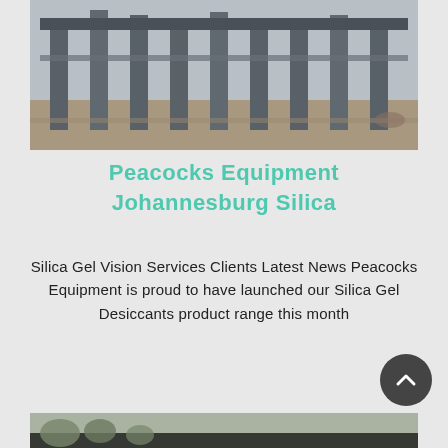[Figure (photo): Construction site photo showing structural steel columns/pillars on a foundation, viewed from ground level]
Peacocks Equipment Johannesburg Silica
Silica Gel Vision Services Clients Latest News Peacocks Equipment is proud to have launched our Silica Gel Desiccants product range this month
[Figure (photo): Partial view of another photo at the bottom of the page, appears to be an outdoor scene]